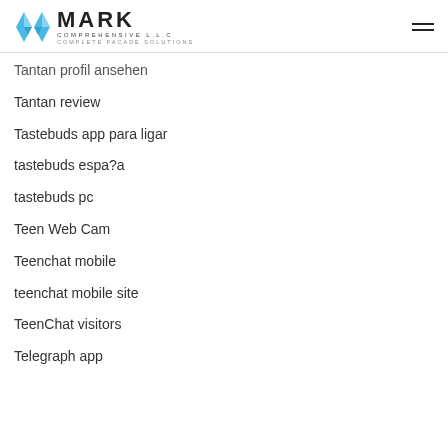MARK COMPREHENSIVE L.L.C — COMPLETE FACADE SOLUTIONS
Tantan profil ansehen
Tantan review
Tastebuds app para ligar
tastebuds espa?a
tastebuds pc
Teen Web Cam
Teenchat mobile
teenchat mobile site
TeenChat visitors
Telegraph app